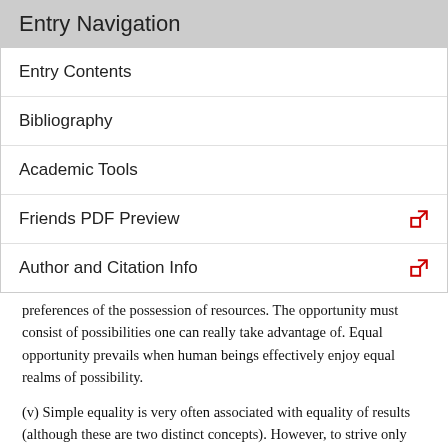Entry Navigation
Entry Contents
Bibliography
Academic Tools
Friends PDF Preview
Author and Citation Info
preferences of the possession of resources. The opportunity must consist of possibilities one can really take advantage of. Equal opportunity prevails when human beings effectively enjoy equal realms of possibility.
(v) Simple equality is very often associated with equality of results (although these are two distinct concepts). However, to strive only for equality of results is problematic. To illustrate the point, let us briefly limit the discussion to a single action and the event or state of affairs resulting from it. Arguably,